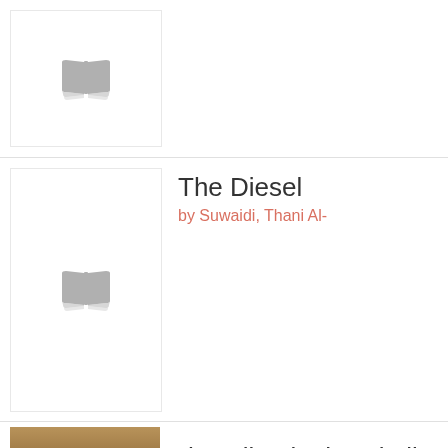[Figure (illustration): Book listing row 1: placeholder book cover with open book icon (gray), no title or author shown]
The Diesel
by Suwaidi, Thani Al-
[Figure (illustration): Book listing row 2: placeholder book cover with open book icon (gray) for The Diesel by Suwaidi, Thani Al-]
[Figure (illustration): Book cover image for The Djinn in the Skull: Stories from hidden Morocco, tan/brown tones with emblem]
The Djinn in the Skull: Stories from hidden